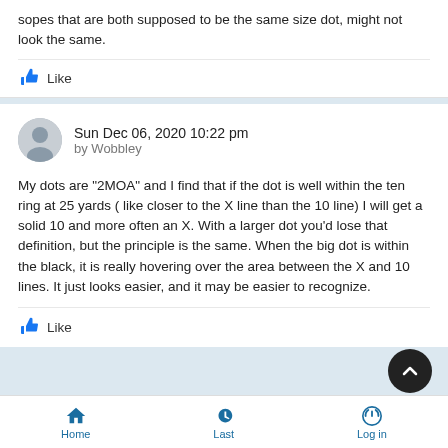sopes that are both supposed to be the same size dot, might not look the same.
Like
Sun Dec 06, 2020 10:22 pm
by Wobbley
My dots are “2MOA” and I find that if the dot is well within the ten ring at 25 yards ( like closer to the X line than the 10 line) I will get a solid 10 and more often an X.  With a larger dot you’d lose that definition, but the principle is the same.  When the big dot is within the black, it is really hovering over the area between the X and 10 lines.  It just looks easier, and it may be easier to recognize.
Like
Home  Last  Log in